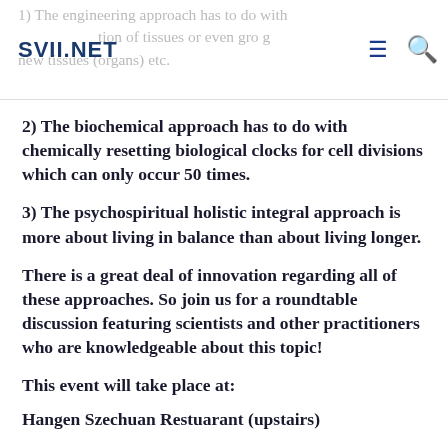SVII.NET | 1) The engineering approach has to do with tion of tissues or even gro g new tissues (organs) etc.
2) The biochemical approach has to do with chemically resetting biological clocks for cell divisions which can only occur 50 times.
3) The psychospiritual holistic integral approach is more about living in balance than about living longer.
There is a great deal of innovation regarding all of these approaches. So join us for a roundtable discussion featuring scientists and other practitioners who are knowledgeable about this topic!
This event will take place at:
Hangen Szechuan Restuarant (upstairs)